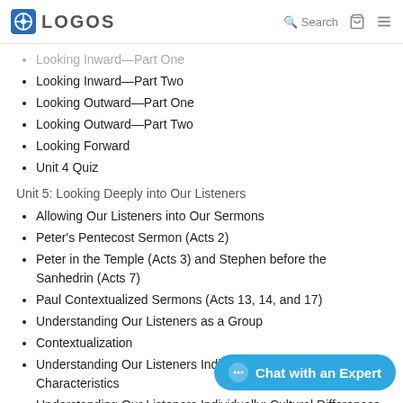LOGOS | Search
Looking Inward—Part One
Looking Inward—Part Two
Looking Outward—Part One
Looking Outward—Part Two
Looking Forward
Unit 4 Quiz
Unit 5: Looking Deeply into Our Listeners
Allowing Our Listeners into Our Sermons
Peter's Pentecost Sermon (Acts 2)
Peter in the Temple (Acts 3) and Stephen before the Sanhedrin (Acts 7)
Paul Contextualized Sermons (Acts 13, 14, and 17)
Understanding Our Listeners as a Group
Contextualization
Understanding Our Listeners Individually: Developmental Characteristics
Understanding Our Listeners Individually: Cultural Differences
Understanding Our Listeners Individually: Needs